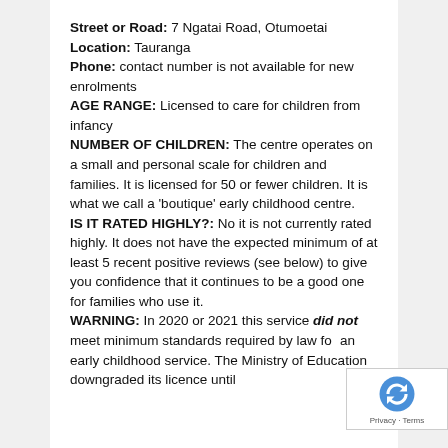Street or Road: 7 Ngatai Road, Otumoetai
Location: Tauranga
Phone: contact number is not available for new enrolments
AGE RANGE: Licensed to care for children from infancy
NUMBER OF CHILDREN: The centre operates on a small and personal scale for children and families. It is licensed for 50 or fewer children. It is what we call a 'boutique' early childhood centre.
IS IT RATED HIGHLY?: No it is not currently rated highly. It does not have the expected minimum of at least 5 recent positive reviews (see below) to give you confidence that it continues to be a good one for families who use it.
WARNING: In 2020 or 2021 this service did not meet minimum standards required by law for an early childhood service. The Ministry of Education downgraded its licence until